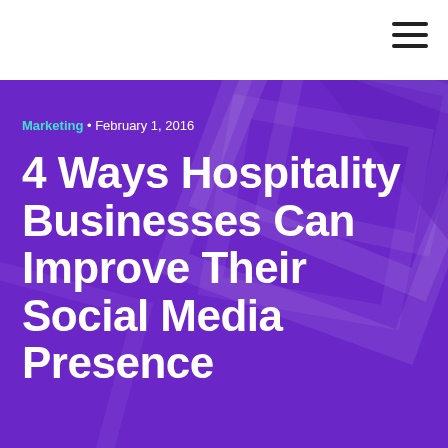Marketing • February 1, 2016
4 Ways Hospitality Businesses Can Improve Their Social Media Presence